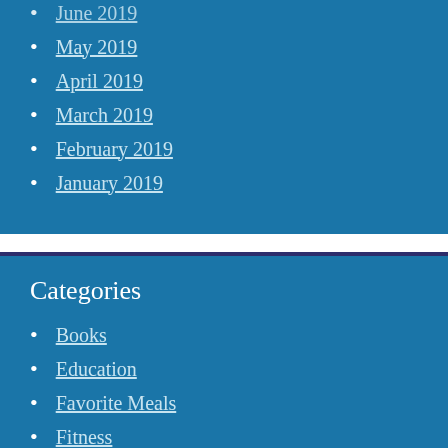May 2019
April 2019
March 2019
February 2019
January 2019
Categories
Books
Education
Favorite Meals
Fitness
Food
Gardening